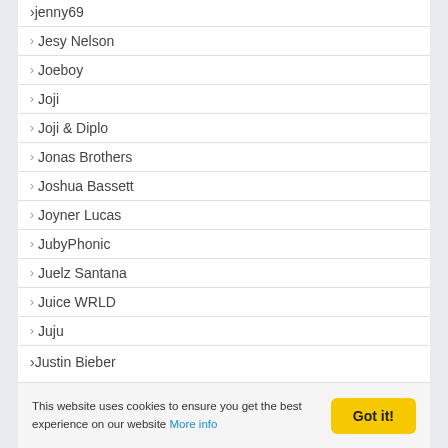jenny69
Jesy Nelson
Joeboy
Joji
Joji & Diplo
Jonas Brothers
Joshua Bassett
Joyner Lucas
JubyPhonic
Juelz Santana
Juice WRLD
Juju
Justin Bieber
This website uses cookies to ensure you get the best experience on our website More info